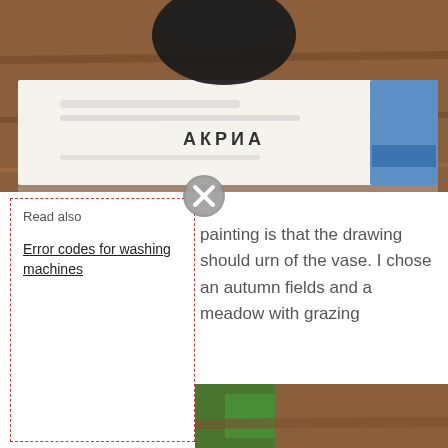[Figure (photo): A blurred photo of a dark round object (possibly a bottle cap) resting on papers or documents on a wooden table. Text on a document reads 'АКРИА' in the center.]
[Figure (illustration): A close/dismiss button icon: a grey circle with an X symbol.]
[Figure (screenshot): A 'Read also' sidebar box with dashed red border containing the label 'Read also' and a link 'Error codes for washing machines'.]
painting is that the drawing should urn of the vase. I chose an autumn fields and a meadow with grazing
[Figure (photo): A partially visible photo showing green and brown blurred objects, appears to be nature or plants on a wooden surface.]